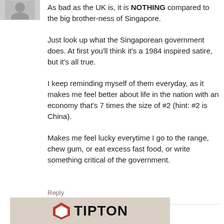[Figure (illustration): Gray avatar icon of a person at top left]
As bad as the UK is, it is NOTHING compared to the big brother-ness of Singapore.
Just look up what the Singaporean government does. At first you'll think it's a 1984 inspired satire, but it's all true.
I keep reminding myself of them everyday, as it makes me feel better about life in the nation with an economy that's 7 times the size of #2 (hint: #2 is China).
Makes me feel lucky everytime I go to the range, chew gum, or eat excess fast food, or write something critical of the government.
Reply
[Figure (illustration): Gray avatar icon for Joel]
Joel
stonished as
[Figure (logo): Tipton logo with red pentagon icon and bold black TIPTON text on a tan/beige background]